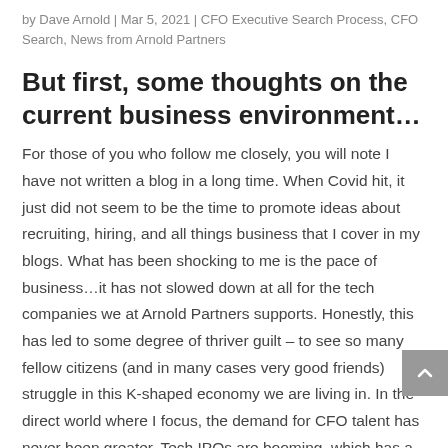by Dave Arnold | Mar 5, 2021 | CFO Executive Search Process, CFO Search, News from Arnold Partners
But first, some thoughts on the current business environment…
For those of you who follow me closely, you will note I have not written a blog in a long time. When Covid hit, it just did not seem to be the time to promote ideas about recruiting, hiring, and all things business that I cover in my blogs. What has been shocking to me is the pace of business…it has not slowed down at all for the tech companies we at Arnold Partners supports. Honestly, this has led to some degree of thriver guilt – to see so many fellow citizens (and in many cases very good friends) struggle in this K-shaped economy we are living in. In the direct world where I focus, the demand for CFO talent has never been greater. Tech IPOs are booming, which has a direct effect on the overall CFO